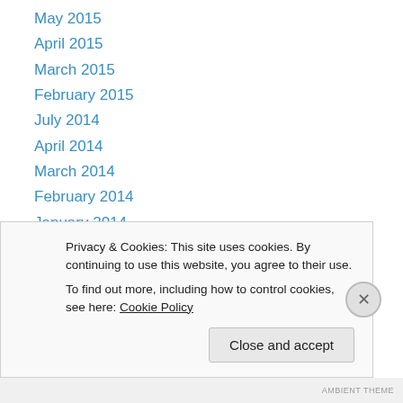May 2015
April 2015
March 2015
February 2015
July 2014
April 2014
March 2014
February 2014
January 2014
December 2013
November 2013
October 2013
September 2013
Privacy & Cookies: This site uses cookies. By continuing to use this website, you agree to their use. To find out more, including how to control cookies, see here: Cookie Policy
Close and accept